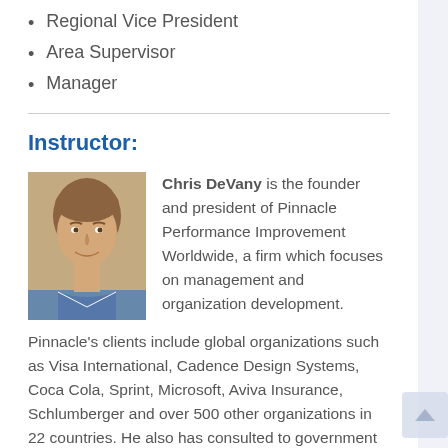Regional Vice President
Area Supervisor
Manager
Instructor:
[Figure (photo): Headshot photo of Chris DeVany, a man with light brown hair, smiling, wearing a collared shirt.]
Chris DeVany is the founder and president of Pinnacle Performance Improvement Worldwide, a firm which focuses on management and organization development. Pinnacle's clients include global organizations such as Visa International, Cadence Design Systems, Coca Cola, Sprint, Microsoft, Aviva Insurance, Schlumberger and over 500 other organizations in 22 countries. He also has consulted to government agencies from the United States, the Royal Government of Saudi Arabia,